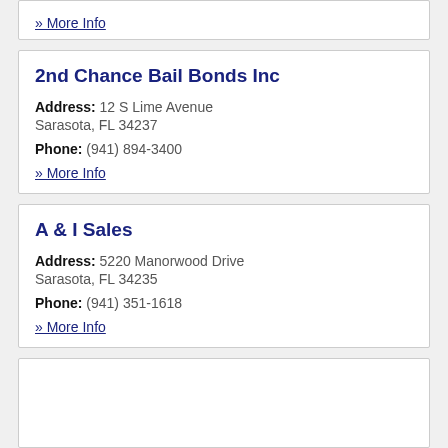» More Info
2nd Chance Bail Bonds Inc
Address: 12 S Lime Avenue Sarasota, FL 34237
Phone: (941) 894-3400
» More Info
A & I Sales
Address: 5220 Manorwood Drive Sarasota, FL 34235
Phone: (941) 351-1618
» More Info